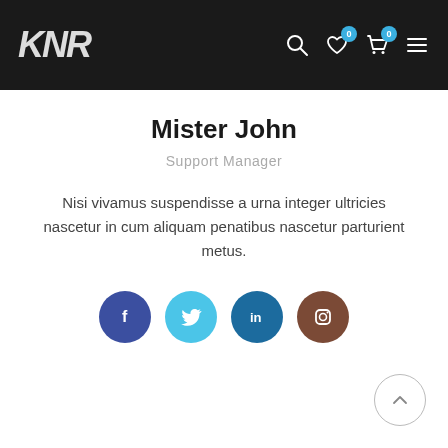KNR — navigation bar with logo, search, wishlist (0), cart (0), menu
Mister John
Support Manager
Nisi vivamus suspendisse a urna integer ultricies nascetur in cum aliquam penatibus nascetur parturient metus.
[Figure (infographic): Four social media icon circles: Facebook (dark blue), Twitter (cyan), LinkedIn (blue), Instagram (brown)]